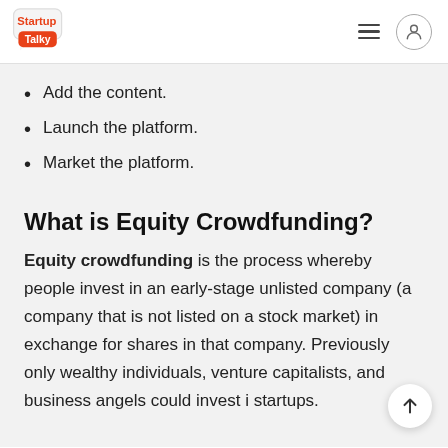StartupTalky
Add the content.
Launch the platform.
Market the platform.
What is Equity Crowdfunding?
Equity crowdfunding is the process whereby people invest in an early-stage unlisted company (a company that is not listed on a stock market) in exchange for shares in that company. Previously only wealthy individuals, venture capitalists, and business angels could invest in startups.